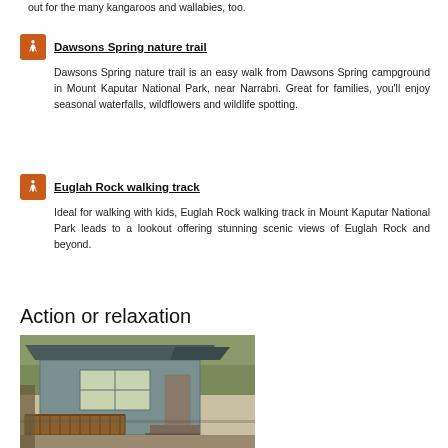out for the many kangaroos and wallabies, too.
Dawsons Spring nature trail — Dawsons Spring nature trail is an easy walk from Dawsons Spring campground in Mount Kaputar National Park, near Narrabri. Great for families, you'll enjoy seasonal waterfalls, wildflowers and wildlife spotting.
Euglah Rock walking track — Ideal for walking with kids, Euglah Rock walking track in Mount Kaputar National Park leads to a lookout offering stunning scenic views of Euglah Rock and beyond.
Action or relaxation
[Figure (photo): Exterior photo of a cabin/lodge building with wooden deck and railings, stone steps, surrounded by trees.]